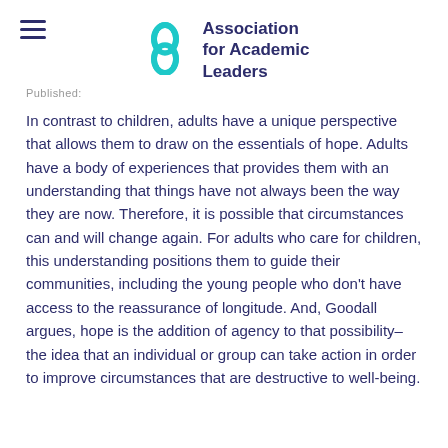[Figure (logo): Association for Academic Leaders logo with teal infinity-like symbol and dark navy text]
In contrast to children, adults have a unique perspective that allows them to draw on the essentials of hope. Adults have a body of experiences that provides them with an understanding that things have not always been the way they are now. Therefore, it is possible that circumstances can and will change again. For adults who care for children, this understanding positions them to guide their communities, including the young people who don't have access to the reassurance of longitude. And, Goodall argues, hope is the addition of agency to that possibility–the idea that an individual or group can take action in order to improve circumstances that are destructive to well-being.